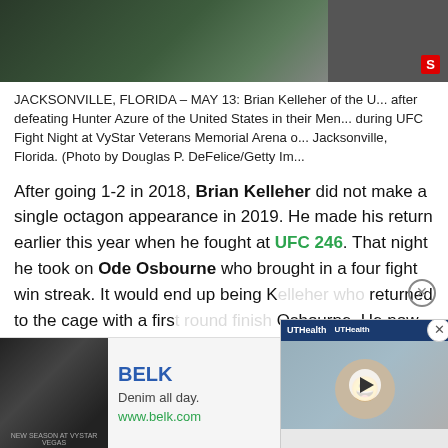[Figure (photo): Sports photo of a UFC fighter, partially visible at top of page with a Sportsnaut/S logo in red at bottom right of the image.]
JACKSONVILLE, FLORIDA – MAY 13: Brian Kelleher of the U... after defeating Hunter Azure of the United States in their Men... during UFC Fight Night at VyStar Veterans Memorial Arena o... Jacksonville, Florida. (Photo by Douglas P. DeFelice/Getty Im...
After going 1-2 in 2018, Brian Kelleher did not make a single octagon appearance in 2019. He made his return earlier this year when he fought at UFC 246. That night he took on Ode Osbourne who brought in a four fight win streak. It would end up being K... returned to the cage with a first... Osbourne. He now looked to m... headed into UFC Fight Night 1...
[Figure (screenshot): Video overlay showing a medical/hospital scene with UTHealth branding, featuring a healthcare worker in PPE and a patient. Has a play button in the center.]
[Figure (other): Advertisement for BELK - Denim all day. www.belk.com - with fashion imagery on the left and a navigation arrow on the right.]